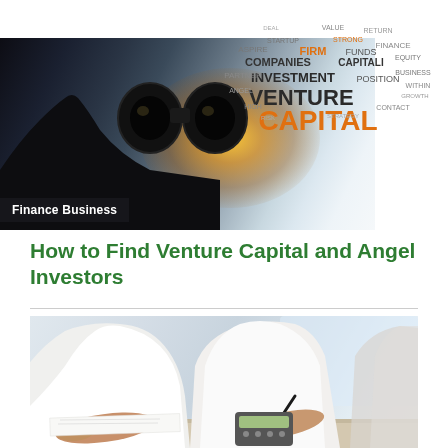[Figure (photo): Person looking through binoculars with a word cloud overlay showing 'VENTURE CAPITAL' and related finance/investment terms in orange and dark text. The word cloud is positioned top-right. A label 'Finance Business' appears at bottom-left of the image.]
How to Find Venture Capital and Angel Investors
[Figure (photo): Two business people at a desk reviewing financial documents. One person holds a pen over a calculator, the other reviews papers. Both wear white shirts.]